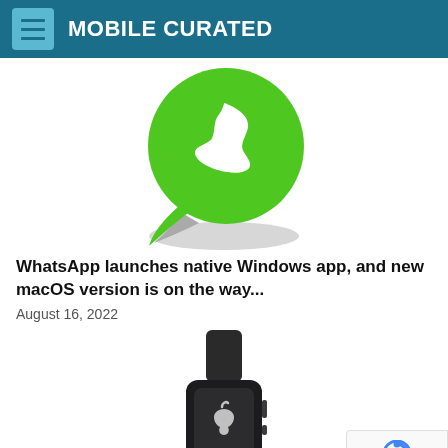MOBILE CURATED
[Figure (logo): WhatsApp logo — green speech bubble with white phone handset icon, with grey shadow/reflection beneath]
WhatsApp launches native Windows app, and new macOS version is on the way...
August 16, 2022
[Figure (photo): Apple Watch with black band, viewed from front-left angle, showing the watch face with Apple logo]
[Figure (logo): reCAPTCHA badge with Privacy and Terms text]